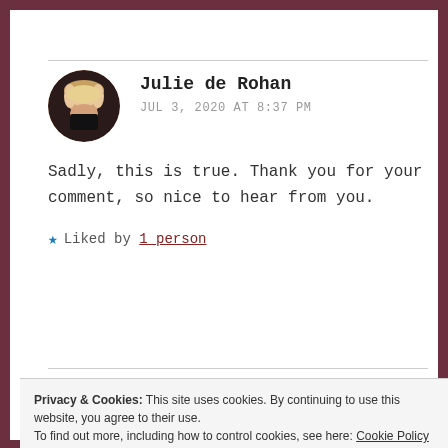Julie de Rohan
JUL 3, 2020 AT 8:37 PM
Sadly, this is true. Thank you for your comment, so nice to hear from you.
★ Liked by 1 person
Privacy & Cookies: This site uses cookies. By continuing to use this website, you agree to their use.
To find out more, including how to control cookies, see here: Cookie Policy
Close and accept